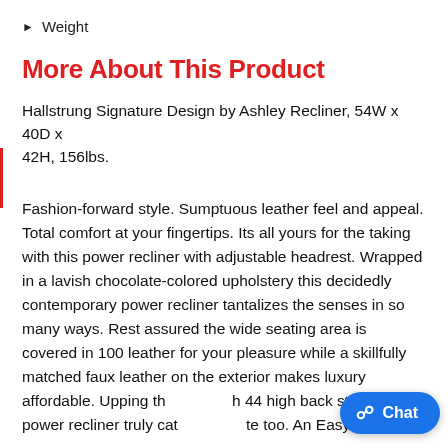Weight
More About This Product
Hallstrung Signature Design by Ashley Recliner, 54W x 40D x 42H, 156lbs.
Fashion-forward style. Sumptuous leather feel and appeal. Total comfort at your fingertips. Its all yours for the taking with this power recliner with adjustable headrest. Wrapped in a lavish chocolate-colored upholstery this decidedly contemporary power recliner tantalizes the senses in so many ways. Rest assured the wide seating area is covered in 100 leather for your pleasure while a skillfully matched faux leather on the exterior makes luxury affordable. Upping th… h 44 high back styling this power recliner truly cat… te too. An Easy